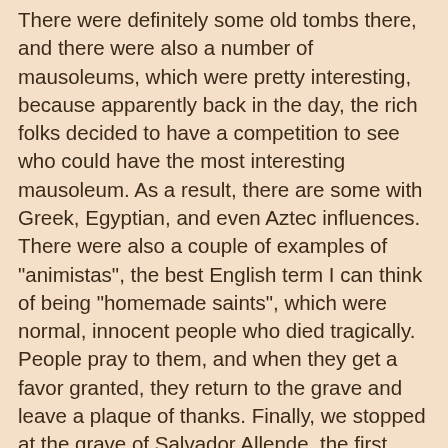There were definitely some old tombs there, and there were also a number of mausoleums, which were pretty interesting, because apparently back in the day, the rich folks decided to have a competition to see who could have the most interesting mausoleum. As a result, there are some with Greek, Egyptian, and even Aztec influences. There were also a couple of examples of "animistas", the best English term I can think of being "homemade saints", which were normal, innocent people who died tragically. People pray to them, and when they get a favor granted, they return to the grave and leave a plaque of thanks. Finally, we stopped at the grave of Salvador Allende, the first democratically elected Communist president, last dude in charge before the military dictatorship, and dead guy. There I probably learned more history about Chile than I had probably ever known up to that point (I love history, but I'm admittedly very Euro-centric). After this, we went to a local bar, where we got samples of the local cocktail, the Terremoto ("earthquake"). It's grenadine, white wine, and pineapple ice cream. Basically, enough sweet added to the alcohol that I could tolerate it. After this, the tour ended. An old couple who I had been talking to throughout the tour left me by saying, "Good